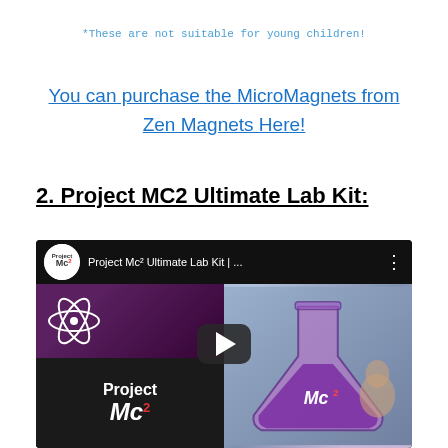*These are not suitable for young children!
You can purchase the MicroMagnets from Zen Magnets Here!
2. Project MC2 Ultimate Lab Kit:
[Figure (screenshot): YouTube video thumbnail for 'Project Mc² Ultimate Lab Kit |...' showing a collage of lab kit imagery with Project Mc² logo branding, featuring a play button overlay.]